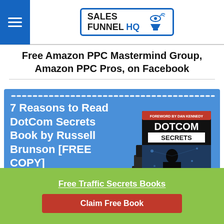[Figure (logo): Sales Funnel HQ logo with hamburger menu icon on blue background on the left, and a bordered logo box with text 'SALES FUNNEL HQ' and funnel/eye icons]
Free Amazon PPC Mastermind Group, Amazon PPC Pros, on Facebook
[Figure (illustration): Blue banner advertisement for '7 Reasons to Read DotCom Secrets Book by Russell Brunson [FREE COPY]' with white bold text on left and a stack of DotCom Secrets books on the right. Dotted white border at top.]
Free Traffic Secrets Books
Claim Free Book